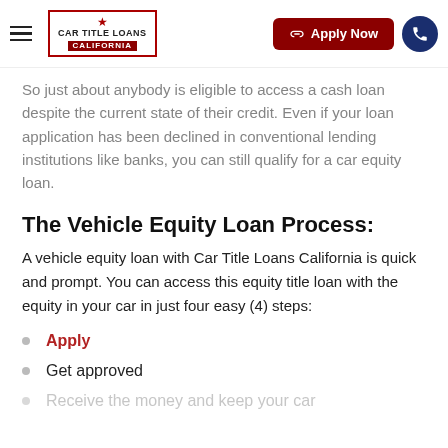Car Title Loans California — Apply Now
So just about anybody is eligible to access a cash loan despite the current state of their credit. Even if your loan application has been declined in conventional lending institutions like banks, you can still qualify for a car equity loan.
The Vehicle Equity Loan Process:
A vehicle equity loan with Car Title Loans California is quick and prompt. You can access this equity title loan with the equity in your car in just four easy (4) steps:
Apply
Get approved
Receive the money and keep your car